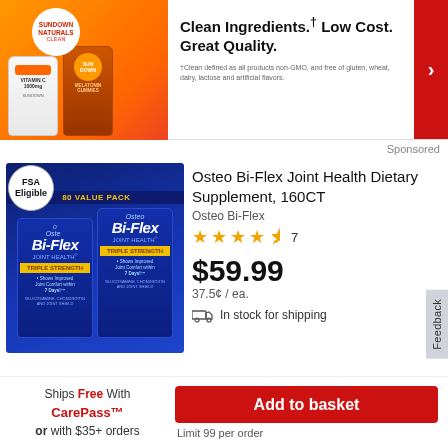[Figure (photo): Sundown vitamins advertisement banner with orange background showing supplement bottles]
Clean Ingredients.† Low Cost. Great Quality.
†Clean defined as all products non-GMO, and free of gluten, wheat, dairy, lactose and artificial flavors.
Sponsored
[Figure (photo): Osteo Bi-Flex Joint Health Triple Strength 160CT value pack showing two blue bottles with FSA Eligible badge]
Osteo Bi-Flex Joint Health Dietary Supplement, 160CT
Osteo Bi-Flex
★★★★½ 7
$59.99
37.5¢ / ea.
In stock for shipping
Ships Free With CarePass™ or with $35+ orders
Add to basket
Limit 99 per order